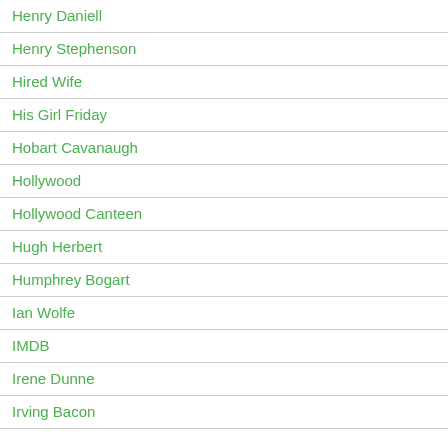Henry Daniell
Henry Stephenson
Hired Wife
His Girl Friday
Hobart Cavanaugh
Hollywood
Hollywood Canteen
Hugh Herbert
Humphrey Bogart
Ian Wolfe
IMDB
Irene Dunne
Irving Bacon